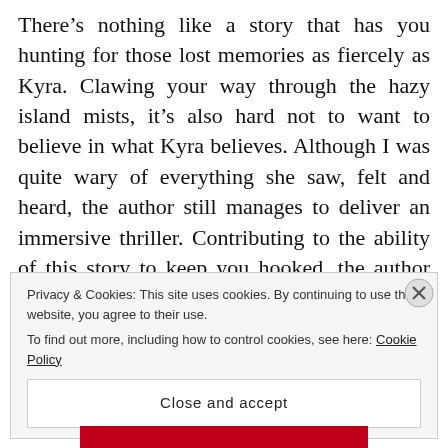There's nothing like a story that has you hunting for those lost memories as fiercely as Kyra. Clawing your way through the hazy island mists, it's also hard not to want to believe in what Kyra believes. Although I was quite wary of everything she saw, felt and heard, the author still manages to deliver an immersive thriller. Contributing to the ability of this story to keep you hooked, the author also succeeds in delivering a tale that has the atmosphere fluctuating to the protagonists
Privacy & Cookies: This site uses cookies. By continuing to use this website, you agree to their use.
To find out more, including how to control cookies, see here: Cookie Policy
Close and accept